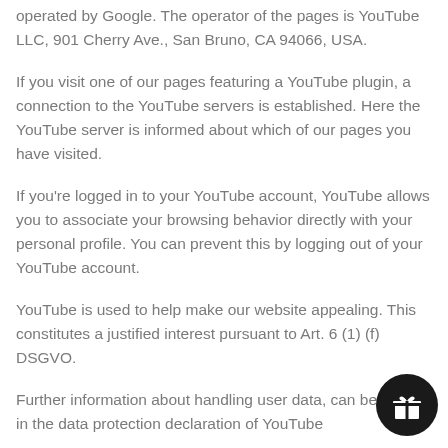operated by Google. The operator of the pages is YouTube LLC, 901 Cherry Ave., San Bruno, CA 94066, USA.
If you visit one of our pages featuring a YouTube plugin, a connection to the YouTube servers is established. Here the YouTube server is informed about which of our pages you have visited.
If you're logged in to your YouTube account, YouTube allows you to associate your browsing behavior directly with your personal profile. You can prevent this by logging out of your YouTube account.
YouTube is used to help make our website appealing. This constitutes a justified interest pursuant to Art. 6 (1) (f) DSGVO.
Further information about handling user data, can be found in the data protection declaration of YouTube